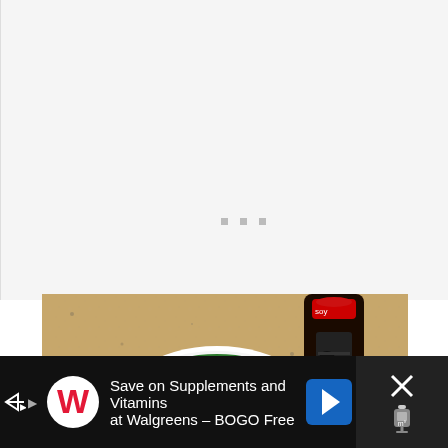[Figure (photo): White background area with three small gray square dots in the center, representing a loading or pagination indicator]
[Figure (photo): Photo of cooking ingredients on a granite countertop: a white bowl filled with chopped green herbs, large fresh basil leaves in the foreground, a dark bottle of soy sauce, and a small bowl with white contents (likely garlic or sugar)]
[Figure (photo): Advertisement bar at the bottom: Walgreens ad with stylized W logo in red and white on dark background, text reading 'Save on Supplements and Vitamins at Walgreens - BOGO Free', a blue navigation arrow, and a close button area on the right with X icon and thermometer icon]